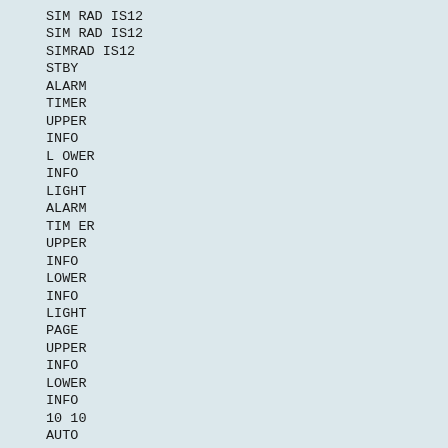SIM RAD IS12
SIM RAD IS12
SIMRAD IS12
STBY
ALARM
TIMER
UPPER
INFO
L OWER
INFO
LIGHT
ALARM
TIM ER
UPPER
INFO
LOWER
INFO
LIGHT
PAGE
UPPER
INFO
LOWER
INFO
10 10
AUTO
PWR
LIGHT
INFO
SETUP
NAV
WIND
1
1